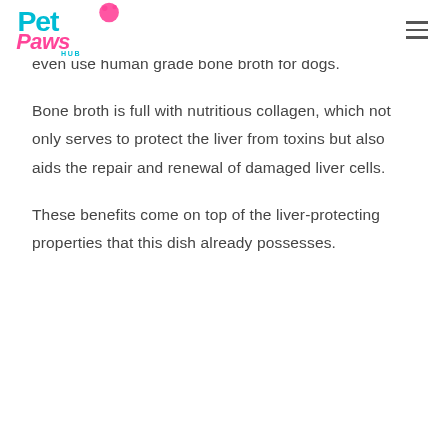Pet Paws Hub [logo]
even use human grade bone broth for dogs.
Bone broth is full with nutritious collagen, which not only serves to protect the liver from toxins but also aids the repair and renewal of damaged liver cells.
These benefits come on top of the liver-protecting properties that this dish already possesses.